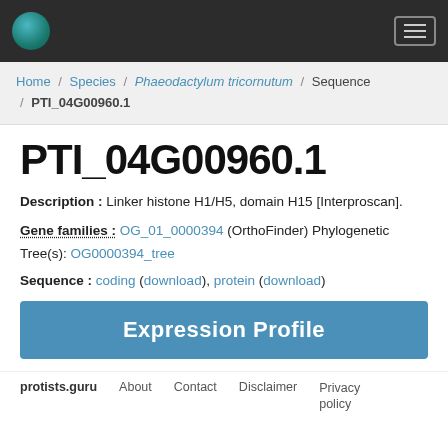protists.guru — navigation header with logo and hamburger menu
Home / Species / Phaeodactylum tricornutum / Sequence / PTI_04G00960.1
PTI_04G00960.1
Description : Linker histone H1/H5, domain H15 [Interproscan].
Gene families : OG_01_0000394 (OrthoFinder) Phylogenetic Tree(s): OG0000394_tree
Sequence : coding (download), protein (download)
Expression Profile
protists.guru  About  Contact  Disclaimer  Privacy policy